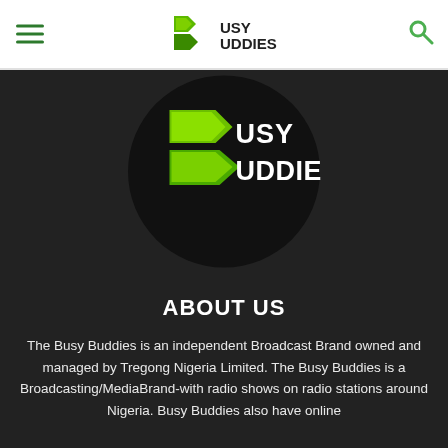Busy Buddies
[Figure (logo): Busy Buddies circular logo on black background with green stylized B letter and white text BUSY BUDDIES]
ABOUT US
The Busy Buddies is an independent Broadcast Brand owned and managed by Tregong Nigeria Limited. The Busy Buddies is a Broadcasting/MediaBrand-with radio shows on radio stations around Nigeria. Busy Buddies also have online